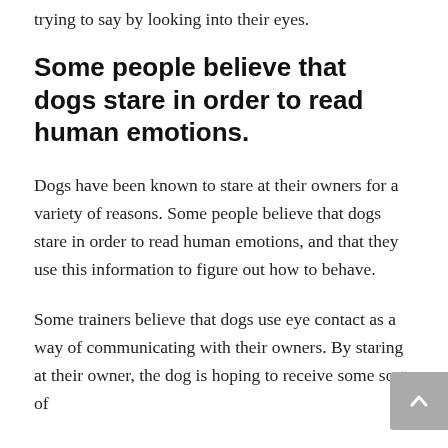trying to say by looking into their eyes.
Some people believe that dogs stare in order to read human emotions.
Dogs have been known to stare at their owners for a variety of reasons. Some people believe that dogs stare in order to read human emotions, and that they use this information to figure out how to behave.
Some trainers believe that dogs use eye contact as a way of communicating with their owners. By staring at their owner, the dog is hoping to receive some sort of